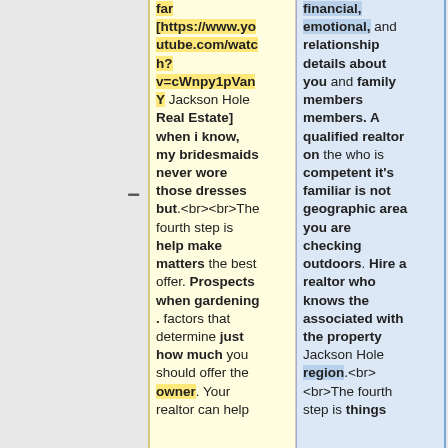far [https://www.youtube.com/watch?v=cWnpy1pVanY Jackson Hole Real Estate] when i know, my bridesmaids never wore those dresses but.<br><br>The fourth step is help make matters the best offer. Prospects when gardening . factors that determine just how much you should offer the owner. Your realtor can help
financial, emotional, and relationship details about you and family members members. A qualified realtor on the who is competent it's familiar is not geographic area you are checking outdoors. Hire a realtor who knows the associated with the property Jackson Hole region.<br><br>The fourth step is things